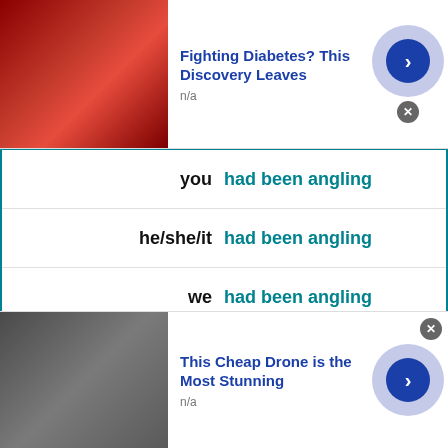[Figure (screenshot): Advertisement banner: Fighting Diabetes? This Discovery Leaves - with red/saffron image, blue arrow button]
| you | had been angling |
| he/she/it | had been angling |
| we | had been angling |
| they | had been angling |
PRESENT
| I | angle |
| you | angle |
| he/she/it | angles |
| we | angle |
| they | angle |
[Figure (screenshot): Advertisement banner: This Cheap Drone is the Most Stunning - with drone image, blue arrow button]